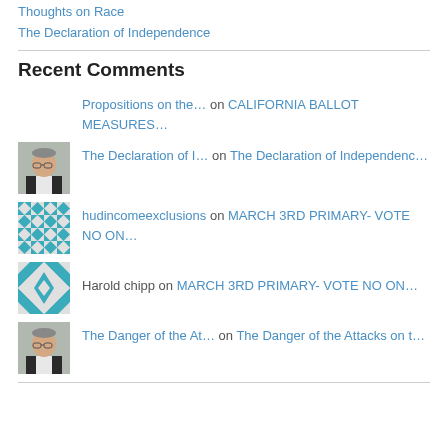Thoughts on Race
The Declaration of Independence
Recent Comments
Propositions on the… on CALIFORNIA BALLOT MEASURES…
The Declaration of I… on The Declaration of Independenc…
hudincomeexclusions on MARCH 3RD PRIMARY- VOTE NO ON…
Harold chipp on MARCH 3RD PRIMARY- VOTE NO ON…
The Danger of the At… on The Danger of the Attacks on t…